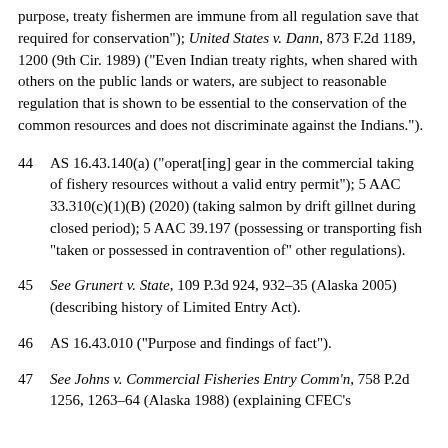purpose, treaty fishermen are immune from all regulation save that required for conservation"); United States v. Dann, 873 F.2d 1189, 1200 (9th Cir. 1989) ("Even Indian treaty rights, when shared with others on the public lands or waters, are subject to reasonable regulation that is shown to be essential to the conservation of the common resources and does not discriminate against the Indians.").
44  AS 16.43.140(a) ("operat[ing] gear in the commercial taking of fishery resources without a valid entry permit"); 5 AAC 33.310(c)(1)(B) (2020) (taking salmon by drift gillnet during closed period); 5 AAC 39.197 (possessing or transporting fish “taken or possessed in contravention of” other regulations).
45  See Grunert v. State, 109 P.3d 924, 932–35 (Alaska 2005) (describing history of Limited Entry Act).
46  AS 16.43.010 (“Purpose and findings of fact”).
47  See Johns v. Commercial Fisheries Entry Comm’n, 758 P.2d 1256, 1263–64 (Alaska 1988) (explaining CFEC’s